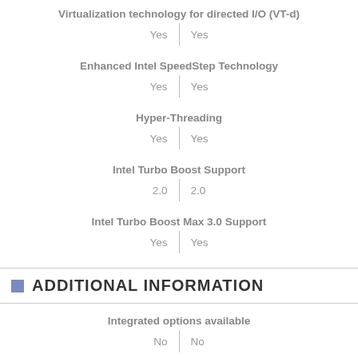Virtualization technology for directed I/O (VT-d)
Yes | Yes
Enhanced Intel SpeedStep Technology
Yes | Yes
Hyper-Threading
Yes | Yes
Intel Turbo Boost Support
2.0 | 2.0
Intel Turbo Boost Max 3.0 Support
Yes | Yes
ADDITIONAL INFORMATION
Integrated options available
No | No